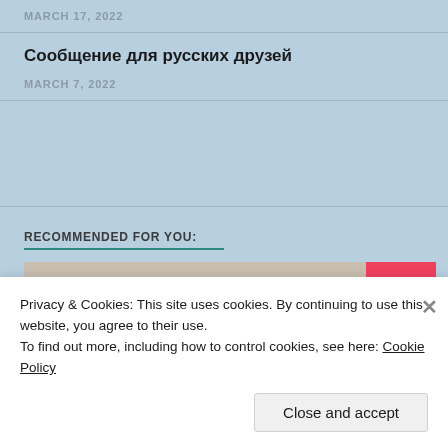MARCH 17, 2022
Сообщение для русских друзей
MARCH 7, 2022
RECOMMENDED FOR YOU:
[Figure (photo): Banner image showing partial text 'Margate' in red lettering on a tan/beige background, with a red panel on the right containing an Airbnb logo icon]
Privacy & Cookies: This site uses cookies. By continuing to use this website, you agree to their use.
To find out more, including how to control cookies, see here: Cookie Policy
Close and accept